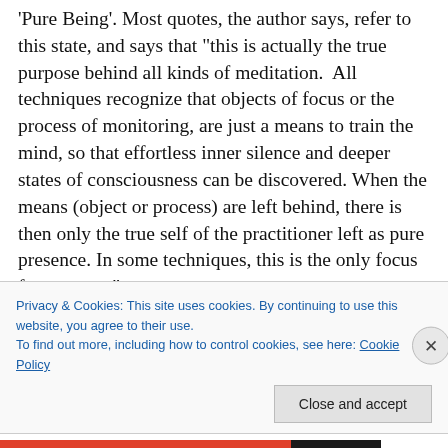'Pure Being'. Most quotes, the author says, refer to this state, and says that "this is actually the true purpose behind all kinds of meditation.  All techniques recognize that objects of focus or the process of monitoring, are just a means to train the mind, so that effortless inner silence and deeper states of consciousness can be discovered. When the means (object or process) are left behind, there is then only the true self of the practitioner left as pure presence. In some techniques, this is the only focus from outset."
I agree with all of this. I was lucky enough to grow up in
Privacy & Cookies: This site uses cookies. By continuing to use this website, you agree to their use.
To find out more, including how to control cookies, see here: Cookie Policy